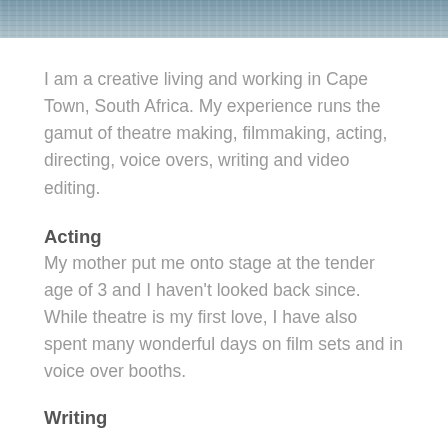[Figure (photo): Partial photograph visible at top of page, appears to show a coastal or water scene with grey-blue tones]
I am a creative living and working in Cape Town, South Africa. My experience runs the gamut of theatre making, filmmaking, acting, directing, voice overs, writing and video editing.
Acting
My mother put me onto stage at the tender age of 3 and I haven't looked back since. While theatre is my first love, I have also spent many wonderful days on film sets and in voice over booths.
Writing